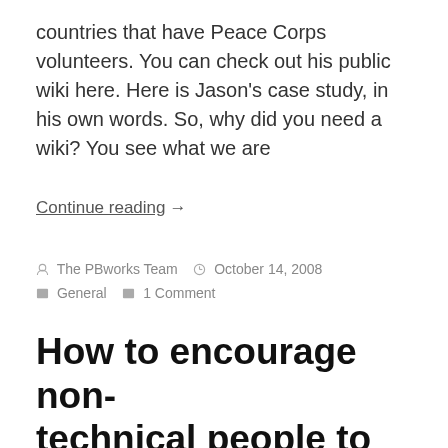countries that have Peace Corps volunteers. You can check out his public wiki here. Here is Jason's case study, in his own words. So, why did you need a wiki? You see what we are
Continue reading →
The PBworks Team   October 14, 2008   General   1 Comment
How to encourage non-technical people to use a wiki